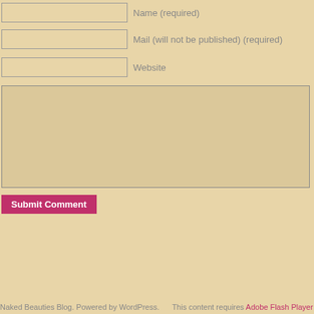Name (required)
Mail (will not be published) (required)
Website
Submit Comment
Naked Beauties Blog. Powered by WordPress. This content requires Adobe Flash Player 9.0 (or higher).